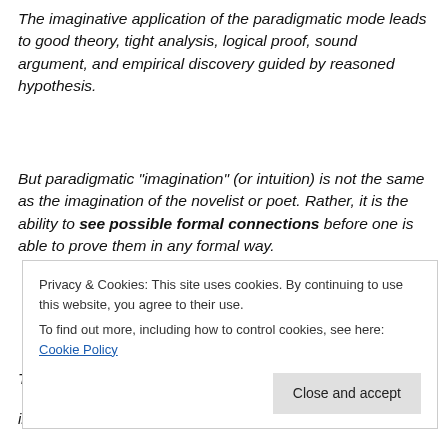The imaginative application of the paradigmatic mode leads to good theory, tight analysis, logical proof, sound argument, and empirical discovery guided by reasoned hypothesis.
But paradigmatic "imagination" (or intuition) is not the same as the imagination of the novelist or poet. Rather, it is the ability to see possible formal connections before one is able to prove them in any formal way.
The imaginative application of the narrative mode leads instead to good stories, gripping drama, believable
Cookie Banner: Privacy & Cookies: This site uses cookies. By continuing to use this website, you agree to their use. To find out more, including how to control cookies, see here: Cookie Policy. Close and accept.